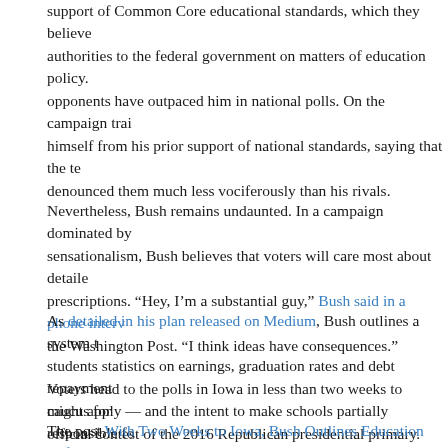support of Common Core educational standards, which they believe authorities to the federal government on matters of education policy. opponents have outpaced him in national polls. On the campaign trai, himself from his prior support of national standards, saying that the te denounced them much less vociferously than his rivals.
Nevertheless, Bush remains undaunted. In a campaign dominated by sensationalism, Bush believes that voters will care most about detaile prescriptions. "Hey, I'm a substantial guy," Bush said in a phone interv the Washington Post. "I think ideas have consequences."
As detailed in his plan released on Medium, Bush outlines a system t students statistics on earnings, graduation rates and debt repayment might apply — and the intent to make schools partially responsible fo student debt.
Voters head to the polls in Iowa in less than two weeks to caucus for official contest of the 2016 Republican presidential primary. Bush will
The post With Two Weeks to Iowa, Bush Outlines Education Reform P